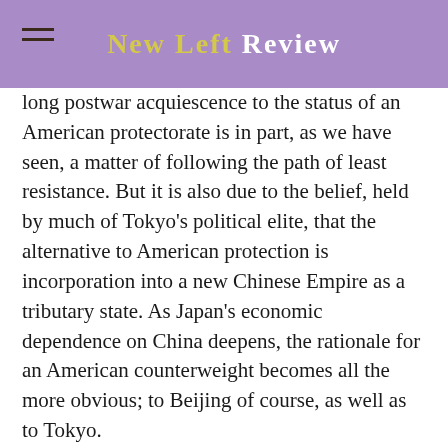New Left Review
long postwar acquiescence to the status of an American protectorate is in part, as we have seen, a matter of following the path of least resistance. But it is also due to the belief, held by much of Tokyo’s political elite, that the alternative to American protection is incorporation into a new Chinese Empire as a tributary state. As Japan’s economic dependence on China deepens, the rationale for an American counterweight becomes all the more obvious; to Beijing of course, as well as to Tokyo.
This may explain some of the theatrics of Sino-Japanese relations over the past few years. To outsiders, the spectacle of anti-Japanese…